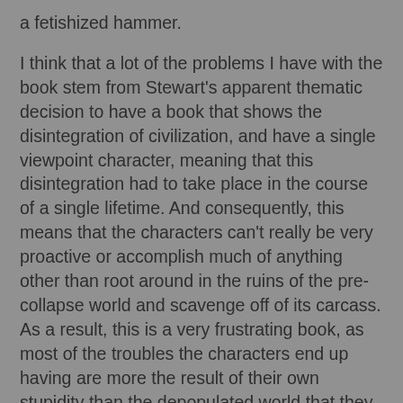a fetishized hammer.
I think that a lot of the problems I have with the book stem from Stewart's apparent thematic decision to have a book that shows the disintegration of civilization, and have a single viewpoint character, meaning that this disintegration had to take place in the course of a single lifetime. And consequently, this means that the characters can't really be very proactive or accomplish much of anything other than root around in the ruins of the pre-collapse world and scavenge off of its carcass. As a result, this is a very frustrating book, as most of the troubles the characters end up having are more the result of their own stupidity than the depopulated world that they find themselves living in. Even still, this book remains a classic of science fiction - even if you've never read the book, if you've read or viewed any post-apocalyptic fiction written since its publication, you probably read a book that was influenced by it. The opening section, describing the empty world devoid of humanity is brilliant, and even though the later sections are made less effective by the passive indifference of the characters, they illustrate quite effectively how the world might adjust to the